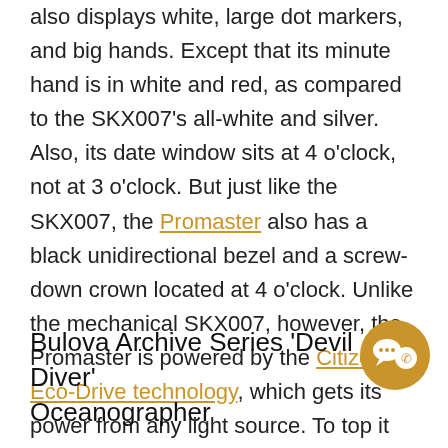also displays white, large dot markers, and big hands. Except that its minute hand is in white and red, as compared to the SKX007's all-white and silver. Also, its date window sits at 4 o'clock, not at 3 o'clock. But just like the SKX007, the Promaster also has a black unidirectional bezel and a screw-down crown located at 4 o'clock. Unlike the mechanical SKX007, however, the Promaster is powered by the Citizen Eco-Drive technology, which gets its power from any light source. To top it off, it also has water-resistance up to 200 metres.
[Figure (other): Chat/messaging icon — a circular badge with speech bubble and phone icons in gold/white]
Bulova Archive Series 'Devil Diver' Oceanographer